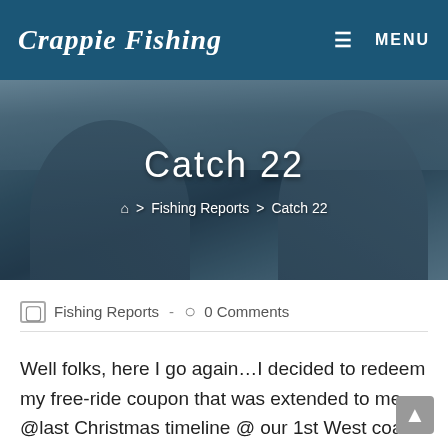Crappie Fishing
[Figure (photo): Two men wearing fishing caps and sunglasses smiling outdoors with cloudy sky background. Overlaid with page title 'Catch 22' and breadcrumb navigation: Home > Fishing Reports > Catch 22]
Catch 22
Fishing Reports  0 Comments
Well folks, here I go again…I decided to redeem my free-ride coupon that was extended to me @last Christmas timeline @ our 1st West coast Saltfest. At the conclusion of C.C's 1st successful Saltfest and the stereotypical handshakes and sendoff back at Vic & Eileen's vehicle for a